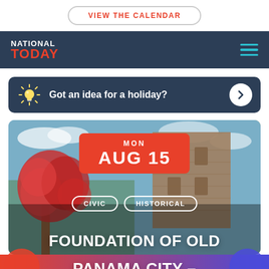VIEW THE CALENDAR
[Figure (logo): National Today logo with hamburger menu icon on dark navy background]
Got an idea for a holiday?
[Figure (photo): Photo of old stone tower/ruins with red flowering tree against blue sky, with date badge MON AUG 15 in red, and tags CIVIC and HISTORICAL. Title text: FOUNDATION OF OLD PANAMA CITY –]
FOUNDATION OF OLD PANAMA CITY –